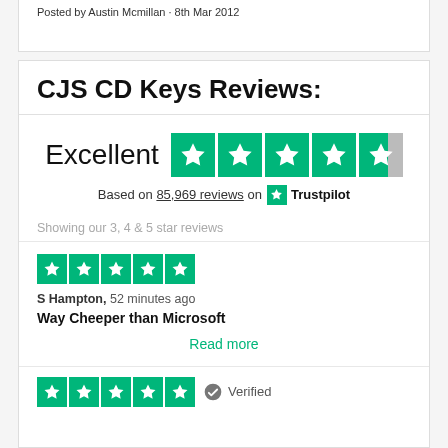Posted by Austin Mcmillan · 8th Mar 2012
CJS CD Keys Reviews:
[Figure (infographic): Trustpilot rating: Excellent, 4.5 stars out of 5, based on 85,969 reviews on Trustpilot]
Showing our 3, 4 & 5 star reviews
[Figure (infographic): 5 green star rating boxes (Trustpilot style)]
S Hampton, 52 minutes ago
Way Cheeper than Microsoft
Read more
[Figure (infographic): 5 green star rating boxes with Verified badge]